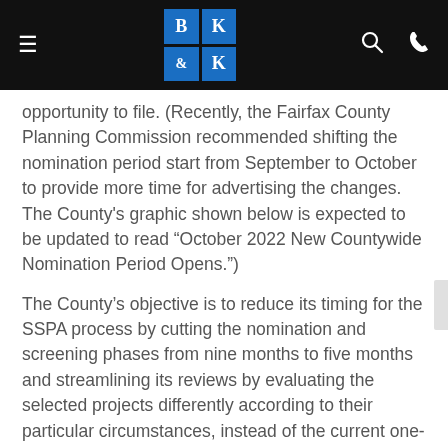BK & K logo with hamburger menu, search and phone icons
opportunity to file. (Recently, the Fairfax County Planning Commission recommended shifting the nomination period start from September to October to provide more time for advertising the changes. The County's graphic shown below is expected to be updated to read “October 2022 New Countywide Nomination Period Opens.”)
The County’s objective is to reduce its timing for the SSPA process by cutting the nomination and screening phases from nine months to five months and streamlining its reviews by evaluating the selected projects differently according to their particular circumstances, instead of the current one-size-fits-all, two-year timeframes and